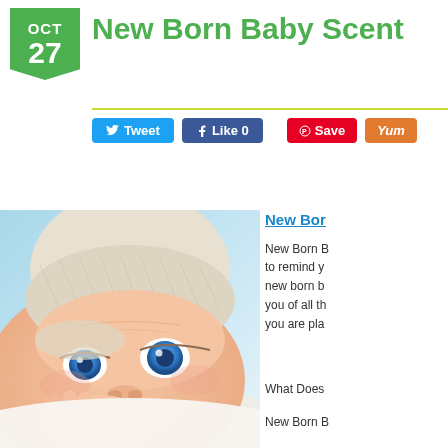OCT 27
New Born Baby Scent
[Figure (infographic): Social sharing buttons: Tweet (Twitter), Like 0 (Facebook), Save (Pinterest), Yum (Yummly)]
[Figure (photo): Close-up photo of a newborn baby with blue eyes wearing a white knit hat, lying down with hands near face against a light blue background]
New Bor
New Born B to remind y new born b you of all th you are pla
What Does
New Born B